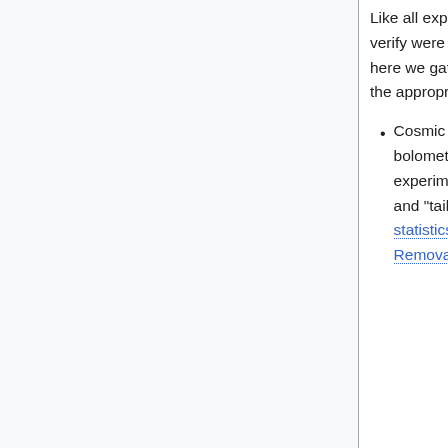Like all experiments, Planck/HFI had a number of "issues" which it needed to track and verify were not compromising the data. While these are discussed in appropriate sections, here we gather them together to give brief summaries of the issues and refer the reader to the appropriate section for more details.
Cosmic Rays - Unprotected by the atmosphere and more sensitive than previous bolometric experiment, HFI was subjected to many more cosmic ray hits than previous experiments. These were detected, the worst parts of the data flagged as unusable, and "tails" were modeled and removed. This is described in the section on glitch statistics and in the section on cosmic rays, as well as in the 2013 HFI Cosmic Ray Removal paper[1]